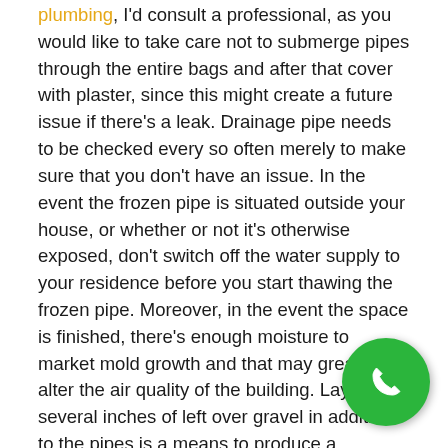plumbing, I'd consult a professional, as you would like to take care not to submerge pipes through the entire bags and after that cover with plaster, since this might create a future issue if there's a leak. Drainage pipe needs to be checked every so often merely to make sure that you don't have an issue. In the event the frozen pipe is situated outside your house, or whether or not it's otherwise exposed, don't switch off the water supply to your residence before you start thawing the frozen pipe. Moreover, in the event the space is finished, there's enough moisture to market mold growth and that may greatly alter the air quality of the building. Laying several inches of left over gravel in addition to the pipes is a means to produce a protective barrier in addition to the pipes and block roots from digging in. Decide how you'll cover up pipes.

A seeping sink isn't simply among the most frequent plumbing setbacks. Installing a fresh showerhead is among the sim… plumbing projects ever! Then make use of a plumbing… which could be found at any given hardware store. Sinc… can see, they're a versatile repair fitting. Well, you ought to be